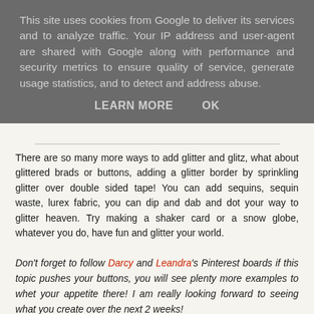This site uses cookies from Google to deliver its services and to analyze traffic. Your IP address and user-agent are shared with Google along with performance and security metrics to ensure quality of service, generate usage statistics, and to detect and address abuse.
LEARN MORE    OK
There are so many more ways to add glitter and glitz, what about glittered brads or buttons, adding a glitter border by sprinkling glitter over double sided tape! You can add sequins, sequin waste, lurex fabric, you can dip and dab and dot your way to glitter heaven. Try making a shaker card or a snow globe, whatever you do, have fun and glitter your world.
Don't forget to follow Darcy and Leandra's Pinterest boards if this topic pushes your buttons, you will see plenty more examples to whet your appetite there! I am really looking forward to seeing what you create over the next 2 weeks!
~ Darcy